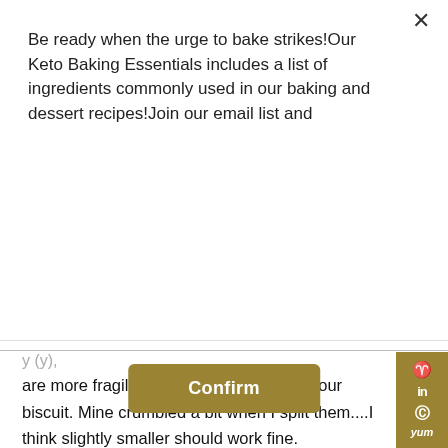Be ready when the urge to bake strikes!Our Keto Baking Essentials includes a list of ingredients commonly used in our baking and dessert recipes!Join our email list and
Confirm
are more fragile than a standard wheat flour biscuit. Mine crumbled a bit when I split them....I think slightly smaller should work fine.
Also for the butter: what works for me is taking a frozen stick of butter out of freezer (I always freeze mine for longer shelf life) and let sit while I measure out the other ingredients. I